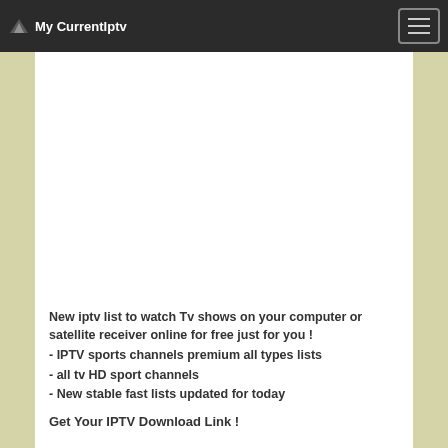My CurrentIptv
[Figure (other): Advertisement banner placeholder, white rectangle]
New iptv list to watch Tv shows on your computer or satellite receiver online for free just for you !
- IPTV sports channels premium all types lists
- all tv HD sport channels
- New stable fast lists updated for today
Get Your IPTV Download Link !